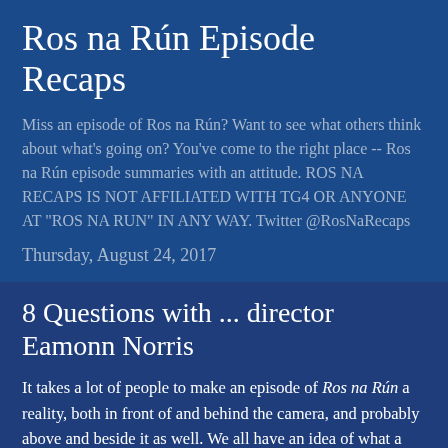Ros na Rún Episode Recaps
Miss an episode of Ros na Rún? Want to see what others think about what's going on? You've come to the right place -- Ros na Rún episode summaries with an attitude. ROS NA RECAPS IS NOT AFFILIATED WITH TG4 OR ANYONE AT "ROS NA RUN" IN ANY WAY. Twitter @RosNaRecaps
Thursday, August 24, 2017
8 Questions with ... director Eamonn Norris
It takes a lot of people to make an episode of Ros na Rún a reality, both in front of and behind the camera, and probably above and beside it as well. We all have an idea of what a director is from film and TV, but what is it really like being a director on a TV show like Ros na Rún? The best way to find